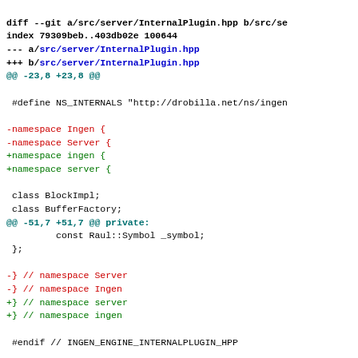diff --git a/src/server/InternalPlugin.hpp b/src/se...
index 79309beb..403db02e 100644
--- a/src/server/InternalPlugin.hpp
+++ b/src/server/InternalPlugin.hpp
@@ -23,8 +23,8 @@

 #define NS_INTERNALS "http://drobilla.net/ns/ingen

-namespace Ingen {
-namespace Server {
+namespace ingen {
+namespace server {

 class BlockImpl;
 class BufferFactory;
@@ -51,7 +51,7 @@ private:
         const Raul::Symbol _symbol;
 };

-} // namespace Server
-} // namespace Ingen
+} // namespace server
+} // namespace ingen

 #endif // INGEN_ENGINE_INTERNALPLUGIN_HPP

diff --git a/src/server/JackDriver.cpp b/src/server...
index 9e95b796..a331811e 100644
--- a/src/server/JackDriver.cpp
+++ b/src/server/JackDriver.cpp